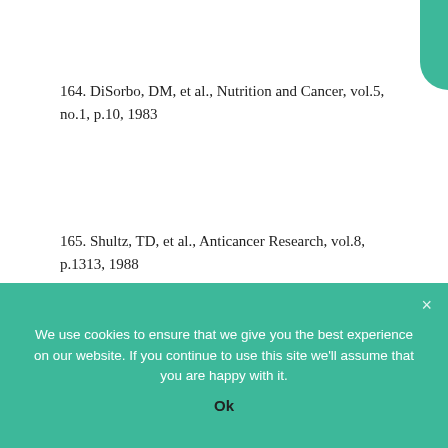164. DiSorbo, DM, et al., Nutrition and Cancer, vol.5, no.1, p.10, 1983
165. Shultz, TD, et al., Anticancer Research, vol.8, p.1313, 1988
We use cookies to ensure that we give you the best experience on our website. If you continue to use this site we'll assume that you are happy with it.
Ok